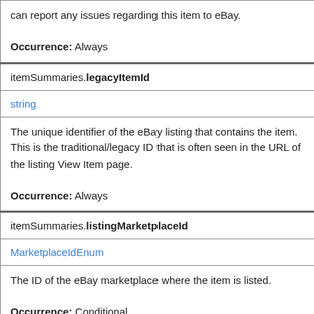can report any issues regarding this item to eBay.

Occurrence: Always
itemSummaries.legacyItemId
string
The unique identifier of the eBay listing that contains the item. This is the traditional/legacy ID that is often seen in the URL of the listing View Item page.

Occurrence: Always
itemSummaries.listingMarketplaceId
MarketplaceIdEnum
The ID of the eBay marketplace where the item is listed.

Occurrence: Conditional
itemSummaries.marketingPrice